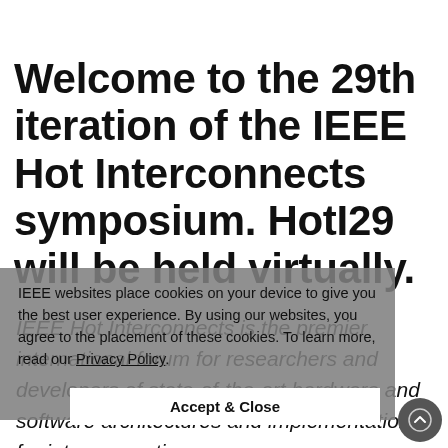Welcome to the 29th iteration of the IEEE Hot Interconnects symposium. HotI29 will be held virtually.
IEEE Hot Interconnects is the premier international forum for researchers and developers of state-of-the-art hardware and software architectures and implementations for interconnection
IEEE websites place cookies on your device to give you the best user experience. By using our websites, you agree to the placement of these cookies. To learn more, read our Privacy Policy.
Accept & Close